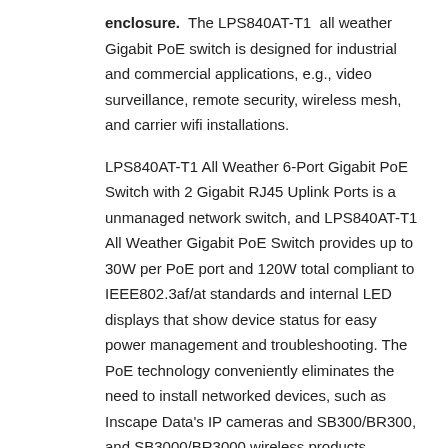enclosure.  The LPS840AT-T1  all weather Gigabit PoE switch is designed for industrial and commercial applications, e.g., video surveillance, remote security, wireless mesh, and carrier wifi installations.
LPS840AT-T1 All Weather 6-Port Gigabit PoE Switch with 2 Gigabit RJ45 Uplink Ports is a unmanaged network switch, and LPS840AT-T1 All Weather Gigabit PoE Switch provides up to 30W per PoE port and 120W total compliant to IEEE802.3af/at standards and internal LED displays that show device status for easy power management and troubleshooting. The PoE technology conveniently eliminates the need to install networked devices, such as Inscape Data's IP cameras and SB300/BR300, and SB3000/BR3000 wireless products, thereby reducing equipment and installation costs.
In The Box:
LPS840AT-T1 (1)
WM0001 Wall Mounting Kit (1)